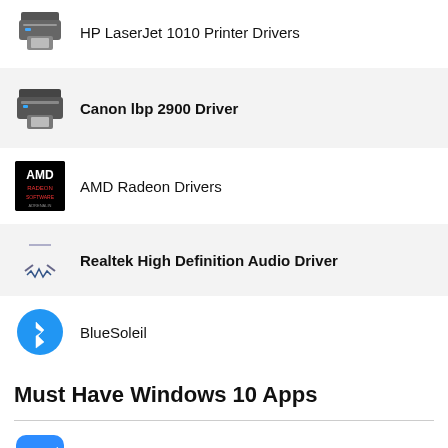HP LaserJet 1010 Printer Drivers
Canon lbp 2900 Driver
AMD Radeon Drivers
Realtek High Definition Audio Driver
BlueSoleil
Must Have Windows 10 Apps
Zoom App
Internet Download Manager
(partially visible)